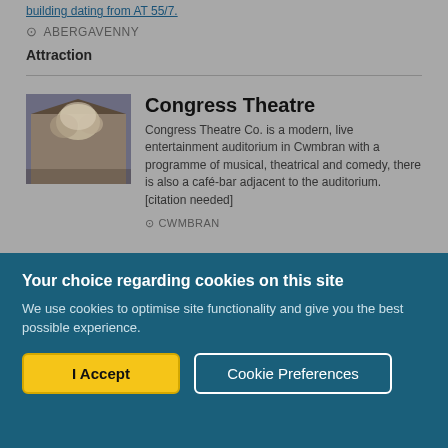building dating from AT 55/7.
ABERGAVENNY
Attraction
[Figure (photo): Photo of Congress Theatre building exterior with decorative stonework or foliage.]
Congress Theatre
Congress Theatre Co. is a modern, live entertainment auditorium in Cwmbran with a programme of musical, theatrical and comedy, there is also a café-bar adjacent to the auditorium.[citation needed]
CWMBRAN
Your choice regarding cookies on this site
We use cookies to optimise site functionality and give you the best possible experience.
I Accept
Cookie Preferences